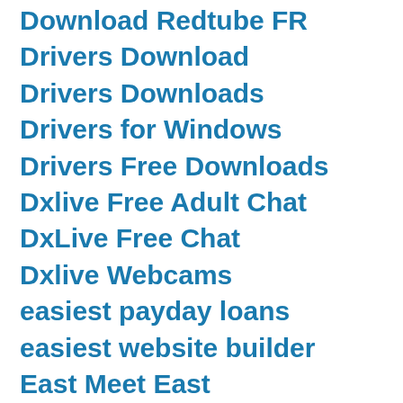Download Redtube FR
Drivers Download
Drivers Downloads
Drivers for Windows
Drivers Free Downloads
Dxlive Free Adult Chat
DxLive Free Chat
Dxlive Webcams
easiest payday loans
easiest website builder
East Meet East